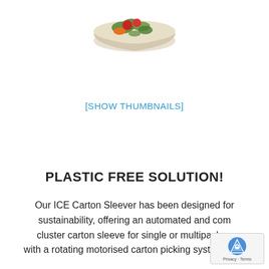[Figure (photo): A bowl filled with vegetables (salad/produce) photographed from above, partially visible at top of page]
[SHOW THUMBNAILS]
PLASTIC FREE SOLUTION!
Our ICE Carton Sleever has been designed for sustainability, offering an automated and com... cluster carton sleeve for single or multipack pr... with a rotating motorised carton picking system. The